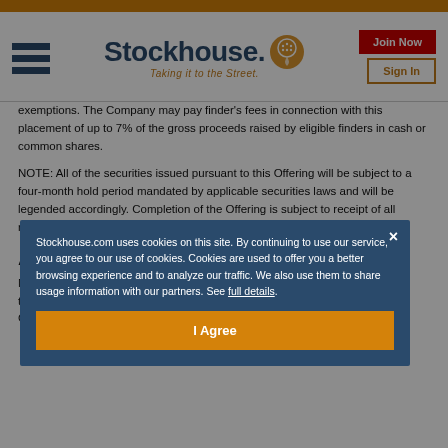[Figure (logo): Stockhouse logo with hamburger menu, orange icon, tagline 'Taking it to the Street.', Join Now and Sign In buttons]
exemptions. The Company may pay finder's fees in connection with this placement of up to 7% of the gross proceeds raised by eligible finders in cash or common shares.
NOTE: All of the securities issued pursuant to this Offering will be subject to a four-month hold period mandated by applicable securities laws and will be legended accordingly. Completion of the Offering is subject to receipt of all required CSE regulatory and other approvals.
A
M... to... Ch...
Stockhouse.com uses cookies on this site. By continuing to use our service, you agree to our use of cookies. Cookies are used to offer you a better browsing experience and to analyze our traffic. We also use them to share usage information with our partners. See full details.